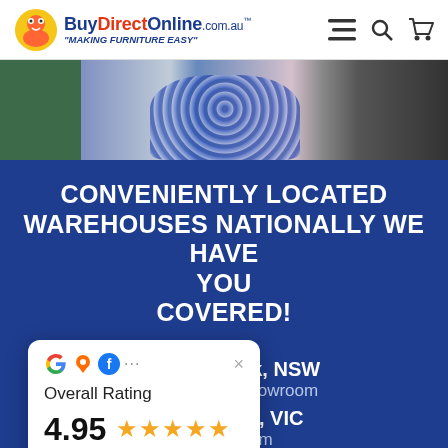BuyDirectOnline.com.au "MAKING FURNITURE EASY"
[Figure (photo): Group of people, partial upper body photo strip]
CONVENIENTLY LOCATED WAREHOUSES NATIONALLY WE HAVE YOU COVERED!
Eastern Creek, NSW
Warehouse & Showroom
North, VIC
& Showroom
e, QLD
Warehouse & Showroom
[Figure (infographic): Rating card overlay: Google, GMB and Facebook icons. Overall Rating 4.95 with 5 stars. Read our 7,073 reviews link.]